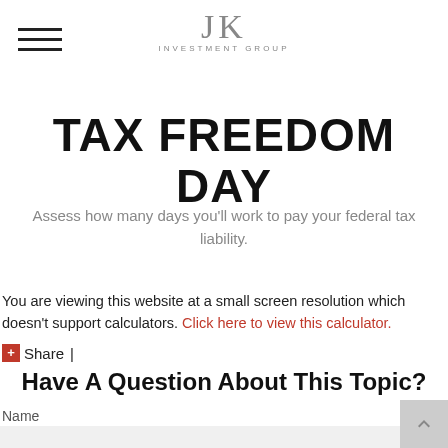JK INVESTMENT GROUP
TAX FREEDOM DAY
Assess how many days you'll work to pay your federal tax liability.
You are viewing this website at a small screen resolution which doesn't support calculators. Click here to view this calculator.
Share |
Have A Question About This Topic?
Name